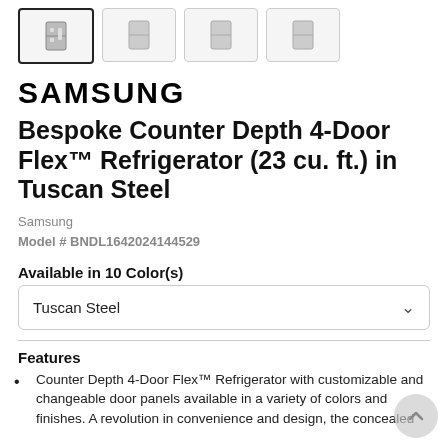[Figure (screenshot): Row of 4 product thumbnail images, first one selected with bold border]
SAMSUNG
Bespoke Counter Depth 4-Door Flex™ Refrigerator (23 cu. ft.) in Tuscan Steel
Samsung
Model # BNDL1642024144529
Available in 10 Color(s)
Tuscan Steel
Features
Counter Depth 4-Door Flex™ Refrigerator with customizable and changeable door panels available in a variety of colors and finishes. A revolution in convenience and design, the concealed